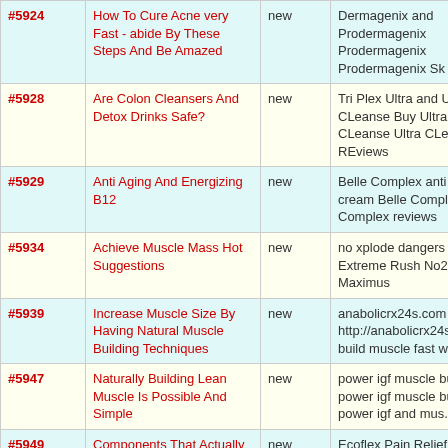| # | Title | Status | Tags |
| --- | --- | --- | --- |
| #5924 | How To Cure Acne very Fast - abide By These Steps And Be Amazed | new | Dermagenix and Prodermagenix Prodermagenix Prodermagenix Sk |
| #5928 | Are Colon Cleansers And Detox Drinks Safe? | new | Tri Plex Ultra and Ultra CLeanse Buy Ultra CLeanse Ultra CLeanse REviews |
| #5929 | Anti Aging And Energizing B12 | new | Belle Complex anti wrinkle cream Belle Complex Belle Complex reviews |
| #5934 | Achieve Muscle Mass Hot Suggestions | new | no xplode dangers No2 Extreme Rush No2 Maximus |
| #5939 | Increase Muscle Size By Having Natural Muscle Building Techniques | new | anabolicrx24s.com http://anabolicrx24s.com  build muscle fast women |
| #5947 | Naturally Building Lean Muscle Is Possible And Simple | new | power igf muscle builder power igf muscle builder power igf and mus... zx90 |
| #5949 | Components That Actually Cause Dietary Loss | new | Ecoflex Pain Relief Buy EcoFlex EcoFlex |
| #5952 | The Most Effective Kept Secrets and techniques For... | new | Ripped Muscle X Review Ripped Muscle X Ripped Muscle X Review |